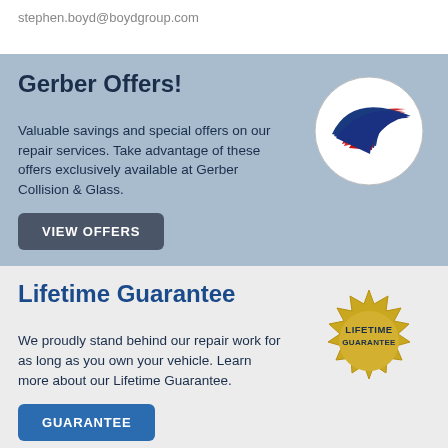stephen.boyd@boydgroup.com
Gerber Offers!
Valuable savings and special offers on our repair services. Take advantage of these offers exclusively available at Gerber Collision & Glass.
VIEW OFFERS
[Figure (logo): Gerber Collision & Glass logo — white circle with red and blue swoosh arrows]
Lifetime Guarantee
We proudly stand behind our repair work for as long as you own your vehicle. Learn more about our Lifetime Guarantee.
GUARANTEE
[Figure (logo): Gold starburst seal badge with text LIFETIME GUARANTEE]
[Figure (infographic): Bottom strip with small icons/logos for various certifications or services]